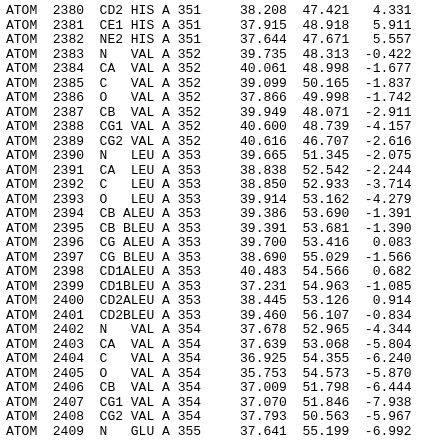| Record | Serial | Name | ResName | Chain | ResSeq | X | Y | Z |
| --- | --- | --- | --- | --- | --- | --- | --- | --- |
| ATOM | 2380 | CD2 | HIS | A | 351 | 38.208 | 47.421 | 4.331 |
| ATOM | 2381 | CE1 | HIS | A | 351 | 37.915 | 48.918 | 5.911 |
| ATOM | 2382 | NE2 | HIS | A | 351 | 37.644 | 47.671 | 5.557 |
| ATOM | 2383 | N | VAL | A | 352 | 39.735 | 48.313 | -0.422 |
| ATOM | 2384 | CA | VAL | A | 352 | 40.061 | 48.998 | -1.677 |
| ATOM | 2385 | C | VAL | A | 352 | 39.099 | 50.165 | -1.837 |
| ATOM | 2386 | O | VAL | A | 352 | 37.866 | 49.998 | -1.742 |
| ATOM | 2387 | CB | VAL | A | 352 | 39.949 | 48.071 | -2.911 |
| ATOM | 2388 | CG1 | VAL | A | 352 | 40.600 | 48.739 | -4.157 |
| ATOM | 2389 | CG2 | VAL | A | 352 | 40.616 | 46.707 | -2.616 |
| ATOM | 2390 | N | LEU | A | 353 | 39.665 | 51.345 | -2.075 |
| ATOM | 2391 | CA | LEU | A | 353 | 38.838 | 52.542 | -2.244 |
| ATOM | 2392 | C | LEU | A | 353 | 38.850 | 52.933 | -3.714 |
| ATOM | 2393 | O | LEU | A | 353 | 39.914 | 53.162 | -4.279 |
| ATOM | 2394 | CB ALEU | A | 353 | 39.386 | 53.690 | -1.391 |
| ATOM | 2395 | CB BLEU | A | 353 | 39.391 | 53.681 | -1.390 |
| ATOM | 2396 | CG ALEU | A | 353 | 39.700 | 53.416 | 0.083 |
| ATOM | 2397 | CG BLEU | A | 353 | 38.690 | 55.029 | -1.566 |
| ATOM | 2398 | CD1ALEU | A | 353 | 40.483 | 54.566 | 0.682 |
| ATOM | 2399 | CD1BLEU | A | 353 | 37.231 | 54.963 | -1.085 |
| ATOM | 2400 | CD2ALEU | A | 353 | 38.445 | 53.126 | 0.914 |
| ATOM | 2401 | CD2BLEU | A | 353 | 39.460 | 56.107 | -0.834 |
| ATOM | 2402 | N | VAL | A | 354 | 37.678 | 52.965 | -4.344 |
| ATOM | 2403 | CA | VAL | A | 354 | 37.639 | 53.068 | -5.804 |
| ATOM | 2404 | C | VAL | A | 354 | 36.925 | 54.355 | -6.240 |
| ATOM | 2405 | O | VAL | A | 354 | 35.753 | 54.573 | -5.870 |
| ATOM | 2406 | CB | VAL | A | 354 | 37.009 | 51.798 | -6.444 |
| ATOM | 2407 | CG1 | VAL | A | 354 | 37.070 | 51.846 | -7.938 |
| ATOM | 2408 | CG2 | VAL | A | 354 | 37.793 | 50.563 | -5.967 |
| ATOM | 2409 | N | GLU | A | 355 | 37.641 | 55.199 | -6.992 |